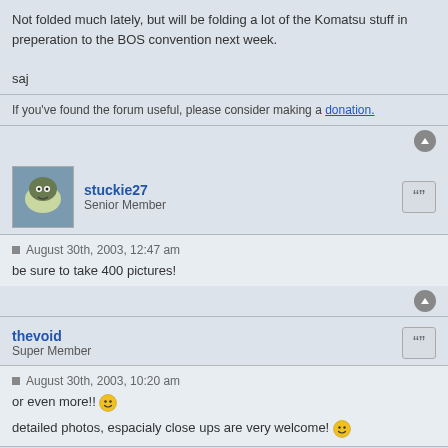Not folded much lately, but will be folding a lot of the Komatsu stuff in preperation to the BOS convention next week.
saj
If you've found the forum useful, please consider making a donation.
stuckie27
Senior Member
August 30th, 2003, 12:47 am
be sure to take 400 pictures!
thevoid
Super Member
August 30th, 2003, 10:20 am
or even more!!
detailed photos, espacialy close ups are very welcome!